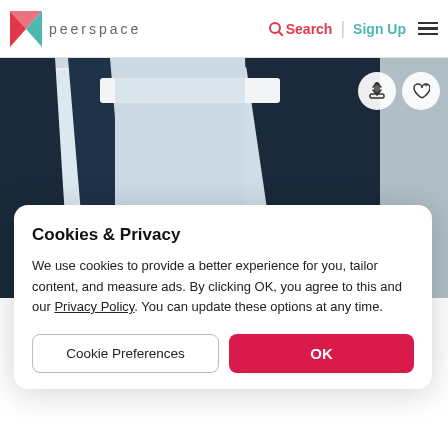peerspace | Search | Sign Up
[Figure (photo): Interior room with tall windows and dark navy curtains, light walls and ceiling visible, background of a Peerspace listing page]
Cookies & Privacy
We use cookies to provide a better experience for you, tailor content, and measure ads. By clicking OK, you agree to this and our Privacy Policy. You can update these options at any time.
Cookie Preferences
OK